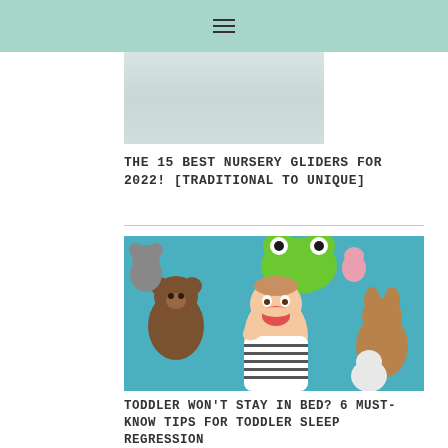☰
[Figure (photo): Top portion of a nursery glider article image showing white/light furniture]
THE 15 BEST NURSERY GLIDERS FOR 2022! [TRADITIONAL TO UNIQUE]
[Figure (photo): Baby lying on a blue blanket surrounded by stuffed animals including a bear, green frog, rabbit, and other plush toys, smiling with mouth open]
TODDLER WON'T STAY IN BED? 6 MUST-KNOW TIPS FOR TODDLER SLEEP REGRESSION